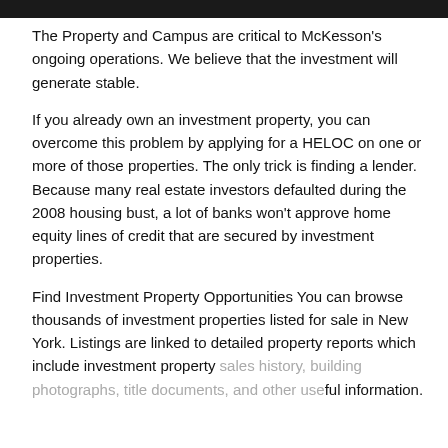The Property and Campus are critical to McKesson's ongoing operations. We believe that the investment will generate stable.
If you already own an investment property, you can overcome this problem by applying for a HELOC on one or more of those properties. The only trick is finding a lender. Because many real estate investors defaulted during the 2008 housing bust, a lot of banks won't approve home equity lines of credit that are secured by investment properties.
Find Investment Property Opportunities You can browse thousands of investment properties listed for sale in New York. Listings are linked to detailed property reports which include investment property sales history, building photographs, title documents, and other useful information.